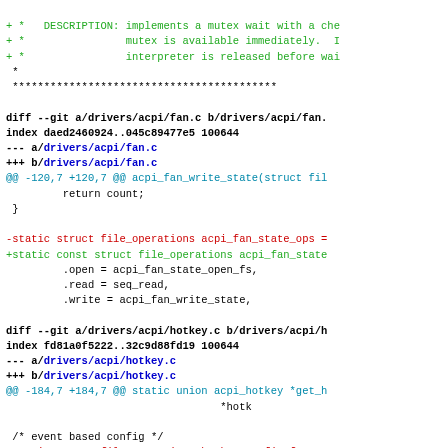diff --git a/drivers/acpi/fan.c b/drivers/acpi/fan.c (truncated)
Code diff showing changes to drivers/acpi/fan.c and drivers/acpi/hotkey.c